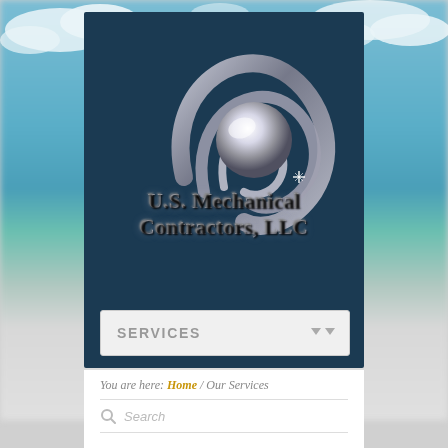[Figure (logo): U.S. Mechanical Contractors LLC logo — metallic silver orbital/globe symbol on dark teal background with beach/sky photograph behind the box]
U.S. Mechanical Contractors, LLC
SERVICES
You are here: Home / Our Services
Search